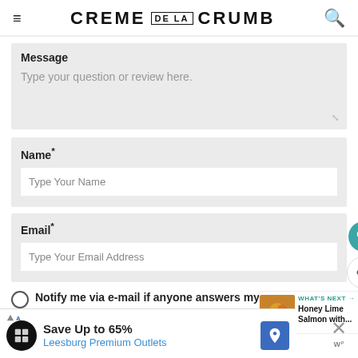CREME DE LA CRUMB
Message
Type your question or review here.
Name*
Type Your Name
Email*
Type Your Email Address
Notify me via e-mail if anyone answers my comment.
Save Up to 65%
Leesburg Premium Outlets